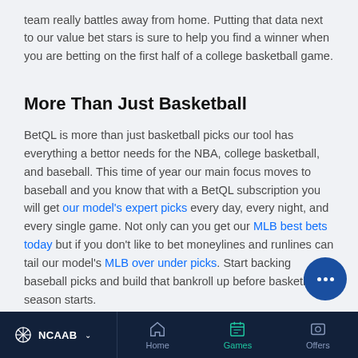team really battles away from home. Putting that data next to our value bet stars is sure to help you find a winner when you are betting on the first half of a college basketball game.
More Than Just Basketball
BetQL is more than just basketball picks our tool has everything a bettor needs for the NBA, college basketball, and baseball. This time of year our main focus moves to baseball and you know that with a BetQL subscription you will get our model's expert picks every day, every night, and every single game. Not only can you get our MLB best bets today but if you don't like to bet moneylines and runlines can tail our model's MLB over under picks. Start backing baseball picks and build that bankroll up before basketball season starts.
NCAAB  Home  Games  Offers